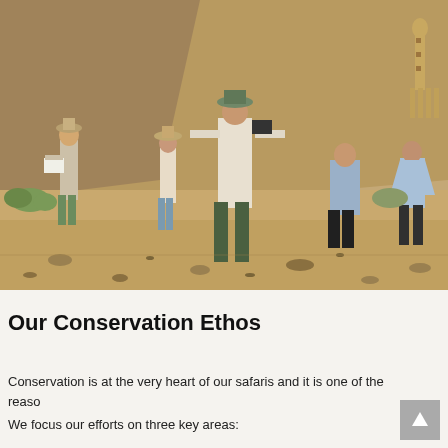[Figure (photo): Outdoor desert scene with several people in safari/field clothing working in a rocky, arid landscape. A sandy rocky hillside is visible in the background. One person on the far right appears to be bending over working. In the far upper right a giraffe is partially visible.]
Our Conservation Ethos
Conservation is at the very heart of our safaris and it is one of the reaso
We focus our efforts on three key areas: